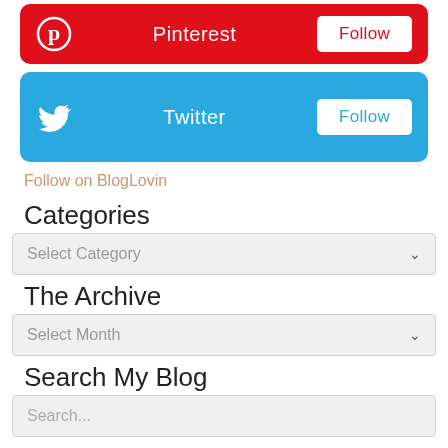[Figure (screenshot): Pinterest social follow card with red background, Pinterest logo icon, 'Pinterest' label, and white Follow button]
[Figure (screenshot): Twitter social follow card with blue background, Twitter bird logo, 'Twitter' label, and white Follow button]
Follow on BlogLovin
Categories
[Figure (screenshot): Select Category dropdown with chevron icon]
The Archive
[Figure (screenshot): Select Month dropdown with chevron icon]
Search My Blog
[Figure (screenshot): Search input box with placeholder text 'Search...']